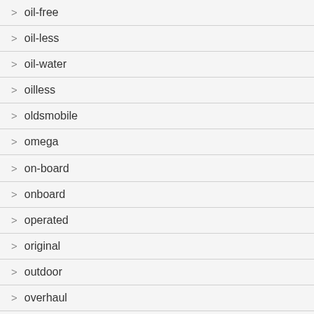> oil-free
> oil-less
> oil-water
> oilless
> oldsmobile
> omega
> on-board
> onboard
> operated
> original
> outdoor
> overhaul
> paar